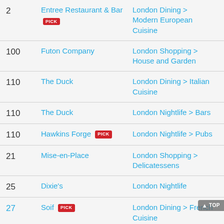2 | Entree Restaurant & Bar | London Dining > Modern European Cuisine | PICK
100 | Futon Company | London Shopping > House and Garden
110 | The Duck | London Dining > Italian Cuisine
110 | The Duck | London Nightlife > Bars
110 | Hawkins Forge PICK | London Nightlife > Pubs
21 | Mise-en-Place | London Shopping > Delicatessens
25 | Dixie's | London Nightlife
27 | Soif PICK | London Dining > French Cuisine